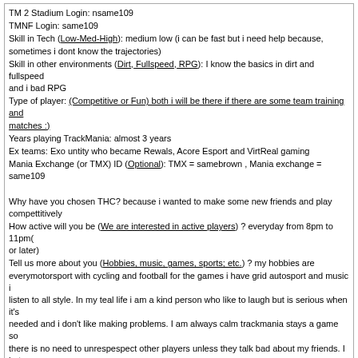TM 2 Stadium Login: nsame109
TMNF Login: same109
Skill in Tech (Low-Med-High): medium low (i can be fast but i need help because, sometimes i dont know the trajectories)
Skill in other environments (Dirt, Fullspeed, RPG): I know the basics in dirt and fullspeed and i bad RPG
Type of player: (Competitive or Fun) both i will be there if there are some team training and matches :)
Years playing TrackMania: almost 3 years
Ex teams: Exo untity who became Rewals, Acore Esport and VirtReal gaming
Mania Exchange (or TMX) ID (Optional): TMX = samebrown , Mania exchange = same109

Why have you chosen THC? because i wanted to make some new friends and play compettitively
How active will you be (We are interested in active players) ? everyday from 8pm to 11pm(or later)
Tell us more about you (Hobbies, music, games, sports; etc.) ? my hobbies are everymotorsport with cycling and football for the games i have grid autosport and music i listen to all style. In my teal life i am a kind person who like to laugh but is serious when it's needed and i don't like making problems. I am always calm trackmania stays a game so there is no need to unrespespect other players unless they talk bad about my friends. I hate to juge people everyone person is the same for me and. I will try hard to come in this team because i don't why but i will be for me a honour to play here because i've already some big tech players names here.

Message edited by same - Saturday, 2018-07-21, 9:19 PM
[2] gonza610 [2018-07-22, 2:37 AM]
Hi i will add you !
[3] gonza610 [2018-07-30, 1:55 PM]
Trial closed .
Page 1 of 1   1
Full website version